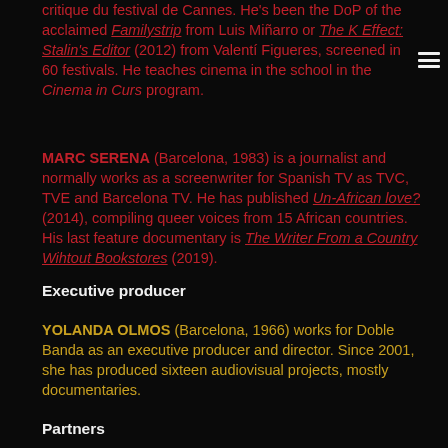critique du festival de Cannes. He's been the DoP of the acclaimed Familystrip from Luis Miñarro or The K Effect: Stalin's Editor (2012) from Valentí Figueres, screened in 60 festivals. He teaches cinema in the school in the Cinema in Curs program.
MARC SERENA (Barcelona, 1983) is a journalist and normally works as a screenwriter for Spanish TV as TVC, TVE and Barcelona TV. He has published Un-African love? (2014), compiling queer voices from 15 African countries. His last feature documentary is The Writer From a Country Wihtout Bookstores (2019).
Executive producer
YOLANDA OLMOS (Barcelona, 1966) works for Doble Banda as an executive producer and director. Since 2001, she has produced sixteen audiovisual projects, mostly documentaries.
Partners